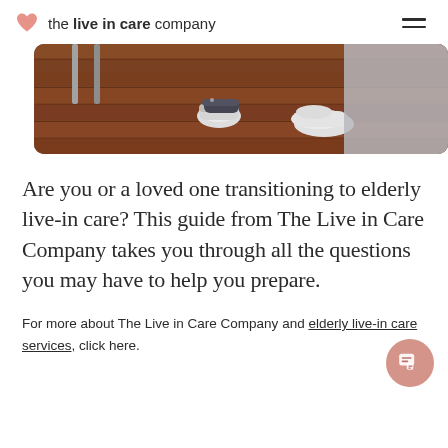the live in care company
[Figure (photo): Close-up photo of feet on a wooden floor, one foot wearing a white slipper and another wearing a sneaker, with chair legs visible.]
Are you or a loved one transitioning to elderly live-in care? This guide from The Live in Care Company takes you through all the questions you may have to help you prepare.
For more about The Live in Care Company and elderly live-in care services, click here.